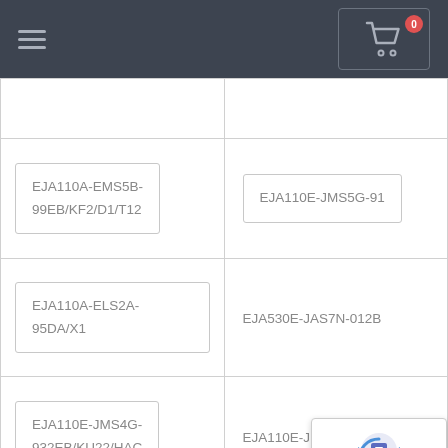[Figure (screenshot): Navigation bar with hamburger menu on left and shopping cart icon with badge showing 0 on right]
| EJA110A-EMS5B-99EB/KF2/D1/T12 | EJA110E-JMS5G-91... |
| EJA110A-ELS2A-95DA/X1 | EJA530E-JAS7N-012B... |
| EJA110E-JMS4G-932EB/KU22/HAC | EJA110E-JFS4G-712B... |
[Figure (other): reCAPTCHA logo overlay with Privacy and Terms text]